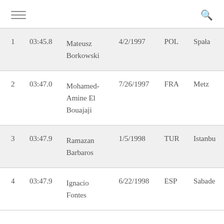navigation menu and search icon
| 1 | 03:45.8 | Mateusz Borkowski | 4/2/1997 | POL | Spała |
| 2 | 03:47.0 | Mohamed-Amine El Bouajaji | 7/26/1997 | FRA | Metz |
| 3 | 03:47.9 | Ramazan Barbaros | 1/5/1998 | TUR | Istanbul |
| 4 | 03:47.9 | Ignacio Fontes | 6/22/1998 | ESP | Sabadell |